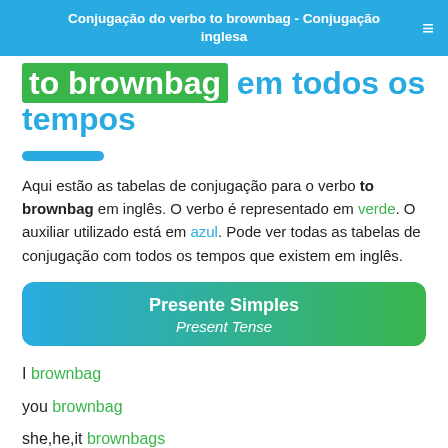Conjugação do verbo to brownbag - Conjugação inglesa
to brownbag em todos os tempos
Aqui estão as tabelas de conjugação para o verbo to brownbag em inglês. O verbo é representado em verde. O auxiliar utilizado está em azul. Pode ver todas as tabelas de conjugação com todos os tempos que existem em inglês.
Presente Simples — Present Tense
I brownbag
you brownbag
she,he,it brownbags
we brownbag